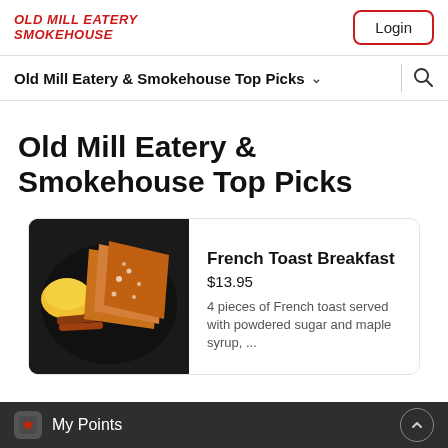OLD MILL EATERY SMOKEHOUSE
Old Mill Eatery & Smokehouse Top Picks
Old Mill Eatery & Smokehouse Top Picks
[Figure (photo): Photo of a French Toast Breakfast in a black takeout container, showing slices of French toast with powdered sugar and scrambled eggs with bacon]
French Toast Breakfast
$13.95
4 pieces of French toast served with powdered sugar and maple syrup, ...
My Points